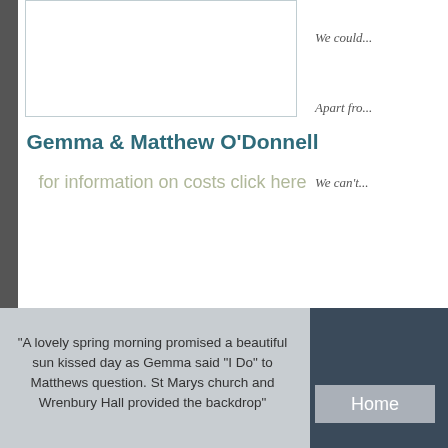[Figure (photo): Empty white image box with light blue-gray border at top left of page]
Gemma & Matthew O'Donnell
for information on costs click here
We could...
Apart fro...
We can't...
view 1    view 2    view 3
"A lovely spring morning promised a beautiful sun kissed day as Gemma said "I Do" to Matthews question. St Marys church and Wrenbury Hall provided the backdrop"
Home